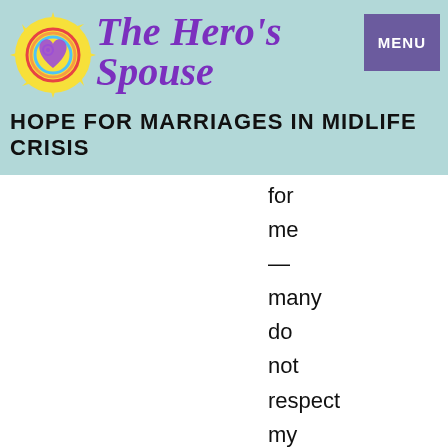The Hero's Spouse — HOPE FOR MARRIAGES IN MIDLIFE CRISIS
for
me
—
many
do
not
respect
my
Stand
and
yet
I
would
respect